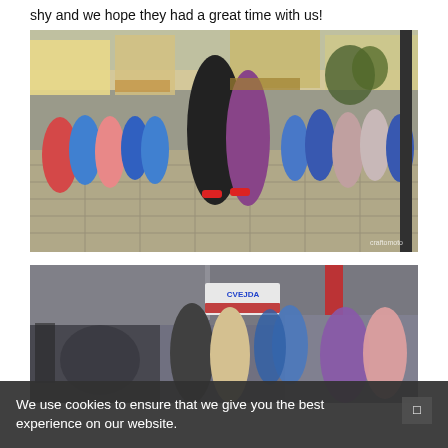shy and we hope they had a great time with us!
[Figure (photo): Outdoor street dance event in a public square. Two main dancers in the center — one in a black t-shirt and blue shorts with red sneakers, the other in black. Large crowd of onlookers around them. Urban setting with buildings and storefronts in background. Watermark reads 'craftomoto'.]
[Figure (photo): Second outdoor street dance/event photo. A man in a vest dancing with a woman in a light dress. Band equipment visible on the left. More dancers and crowd in background. Urban street with storefronts including a sign reading 'CVEJDA'.]
We use cookies to ensure that we give you the best experience on our website.